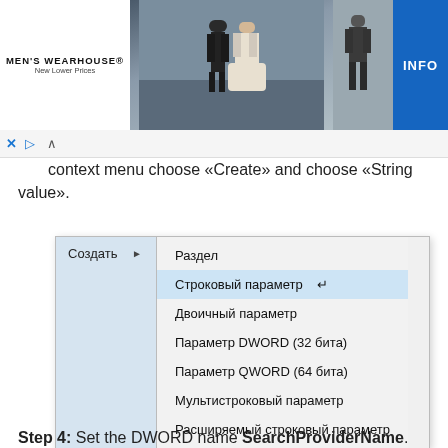[Figure (screenshot): Men's Wearhouse advertisement banner with brand logo on left, wedding couple photo in center, suit mannequin on right, and blue INFO button]
context menu choose «Create» and choose «String value».
[Figure (screenshot): Windows Registry Editor context menu showing Создать (Create) submenu with options: Раздел, Строковый параметр (highlighted), Двоичный параметр, Параметр DWORD (32 бита), Параметр QWORD (64 бита), Мультистроковый параметр, Расширяемый строковый параметр]
Step 4: Set the DWORD name SearchProviderName. Then click the right mouse button and choose «Edit».
Step 5: Next, you need to enter a value. You can type all